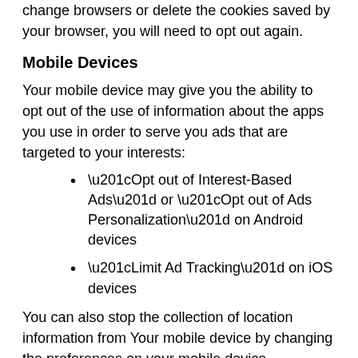change browsers or delete the cookies saved by your browser, you will need to opt out again.
Mobile Devices
Your mobile device may give you the ability to opt out of the use of information about the apps you use in order to serve you ads that are targeted to your interests:
“Opt out of Interest-Based Ads” or “Opt out of Ads Personalization” on Android devices
“Limit Ad Tracking” on iOS devices
You can also stop the collection of location information from Your mobile device by changing the preferences on your mobile device.
Retention of Data
Ricci Tyrrell Johnson & Grey will retain your Personal Data only for as long as is necessary for the